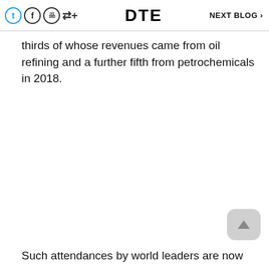DTE   NEXT BLOG >
thirds of whose revenues came from oil refining and a further fifth from petrochemicals in 2018.
Such attendances by world leaders are now